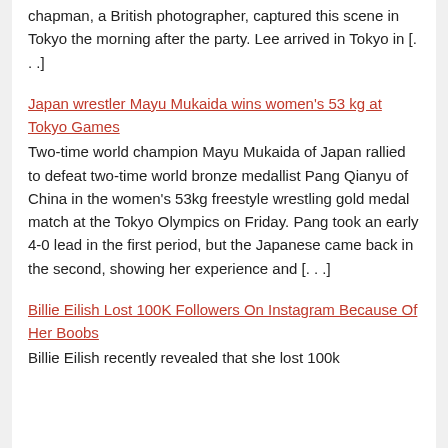chapman, a British photographer, captured this scene in Tokyo the morning after the party. Lee arrived in Tokyo in [. . .]
Japan wrestler Mayu Mukaida wins women's 53 kg at Tokyo Games
Two-time world champion Mayu Mukaida of Japan rallied to defeat two-time world bronze medallist Pang Qianyu of China in the women's 53kg freestyle wrestling gold medal match at the Tokyo Olympics on Friday. Pang took an early 4-0 lead in the first period, but the Japanese came back in the second, showing her experience and [. . .]
Billie Eilish Lost 100K Followers On Instagram Because Of Her Boobs
Billie Eilish recently revealed that she lost 100k